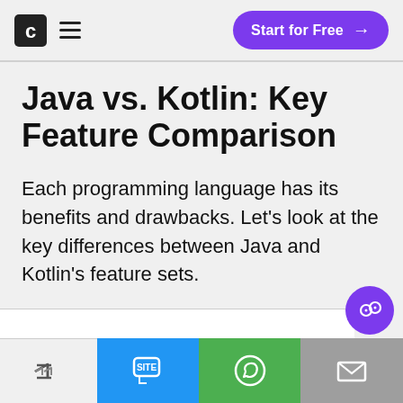Codecademy logo | hamburger menu | Start for Free →
Java vs. Kotlin: Key Feature Comparison
Each programming language has its benefits and drawbacks. Let's look at the key differences between Java and Kotlin's feature sets.
Share | SMS | WhatsApp | Email